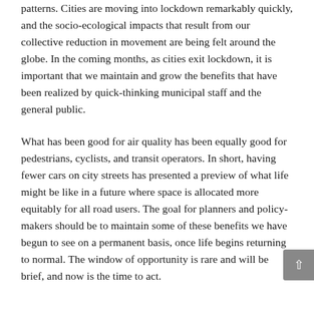patterns. Cities are moving into lockdown remarkably quickly, and the socio-ecological impacts that result from our collective reduction in movement are being felt around the globe. In the coming months, as cities exit lockdown, it is important that we maintain and grow the benefits that have been realized by quick-thinking municipal staff and the general public.
What has been good for air quality has been equally good for pedestrians, cyclists, and transit operators. In short, having fewer cars on city streets has presented a preview of what life might be like in a future where space is allocated more equitably for all road users. The goal for planners and policy-makers should be to maintain some of these benefits we have begun to see on a permanent basis, once life begins returning to normal. The window of opportunity is rare and will be brief, and now is the time to act.